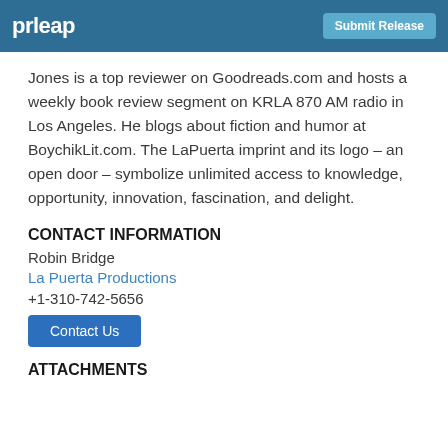prleap | Submit Release
Jones is a top reviewer on Goodreads.com and hosts a weekly book review segment on KRLA 870 AM radio in Los Angeles. He blogs about fiction and humor at BoychikLit.com. The LaPuerta imprint and its logo – an open door – symbolize unlimited access to knowledge, opportunity, innovation, fascination, and delight.
CONTACT INFORMATION
Robin Bridge
La Puerta Productions
+1-310-742-5656
Contact Us
ATTACHMENTS